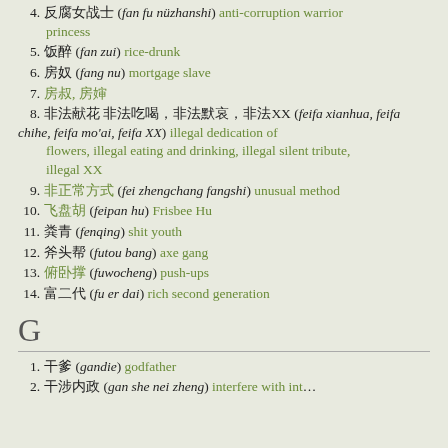4. 反腐女战士 (fan fu nüzhanshi) anti-corruption warrior princess
5. 饭醉 (fan zui) rice-drunk
6. 房奴 (fang nu) mortgage slave
7. 房叔, 房婶
8. 非法献花 非法吃喝，非法默哀，非法XX (feifa xianhua, feifa chihe, feifa mo'ai, feifa XX) illegal dedication of flowers, illegal eating and drinking, illegal silent tribute, illegal XX
9. 非正常方式 (fei zhengchang fangshi) unusual method
10. 飞盘胡 (feipan hu) Frisbee Hu
11. 粪青 (fenqing) shit youth
12. 斧头帮 (futou bang) axe gang
13. 俯卧撑 (fuwocheng) push-ups
14. 富二代 (fu er dai) rich second generation
G
1. 干爹 (gandie) godfather
2. 干涉内政 (gan she nei zheng) interfere with internal...